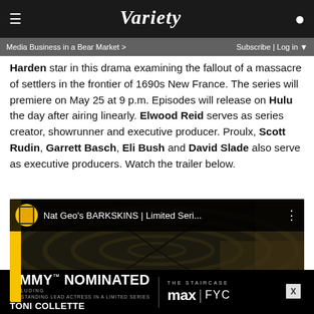VARIETY
Media Business in a Bear Market > | Subscribe | Log in
Harden star in this drama examining the fallout of a massacre of settlers in the frontier of 1690s New France. The series will premiere on May 25 at 9 p.m. Episodes will release on Hulu the day after airing linearly. Elwood Reid serves as series creator, showrunner and executive producer. Proulx, Scott Rudin, Garrett Basch, Eli Bush and David Slade also serve as executive producers. Watch the trailer below.
[Figure (screenshot): YouTube video thumbnail for Nat Geo's BARKSKINS Limited Series with National Geographic channel icon and dark tree bark background]
[Figure (other): Emmy Nominated advertisement banner for The Staircase on Max FYC, featuring Toni Collette - Outstanding Lead Actress in a Limited Series]